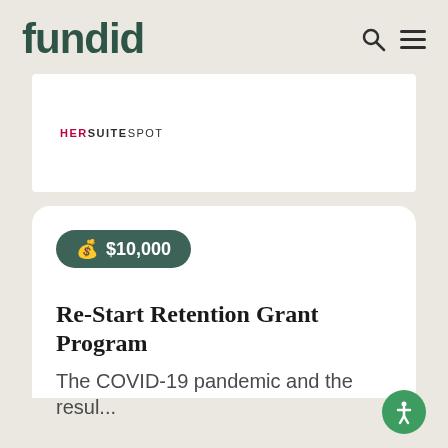fundid
[Figure (logo): HerSuiteSpot logo in red and dark text inside a white rectangular ad banner]
💰 $10,000
Re-Start Retention Grant Program
The COVID-19 pandemic and the resul...